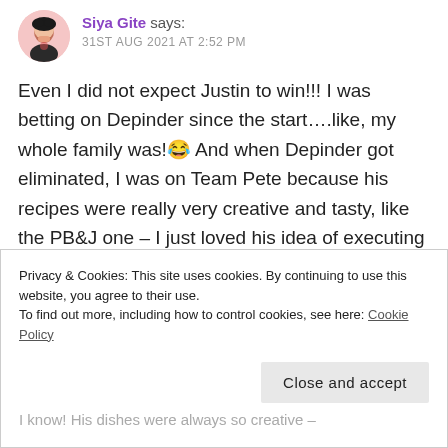Siya Gite says:
31ST AUG 2021 AT 2:52 PM
Even I did not expect Justin to win!!! I was betting on Depinder since the start….like, my whole family was!😂 And when Depinder got eliminated, I was on Team Pete because his recipes were really very creative and tasty, like the PB&J one – I just loved his idea of executing it so differently
⭐ Liked by 1 person
Privacy & Cookies: This site uses cookies. By continuing to use this website, you agree to their use.
To find out more, including how to control cookies, see here: Cookie Policy
Close and accept
I know! His dishes were always so creative –